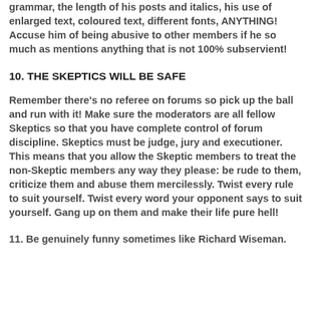grammar, the length of his posts and italics, his use of enlarged text, coloured text, different fonts, ANYTHING! Accuse him of being abusive to other members if he so much as mentions anything that is not 100% subservient!
10. THE SKEPTICS WILL BE SAFE
Remember there's no referee on forums so pick up the ball and run with it! Make sure the moderators are all fellow Skeptics so that you have complete control of forum discipline. Skeptics must be judge, jury and executioner. This means that you allow the Skeptic members to treat the non-Skeptic members any way they please: be rude to them, criticize them and abuse them mercilessly. Twist every rule to suit yourself. Twist every word your opponent says to suit yourself. Gang up on them and make their life pure hell!
11. Be genuinely funny sometimes like Richard Wiseman.